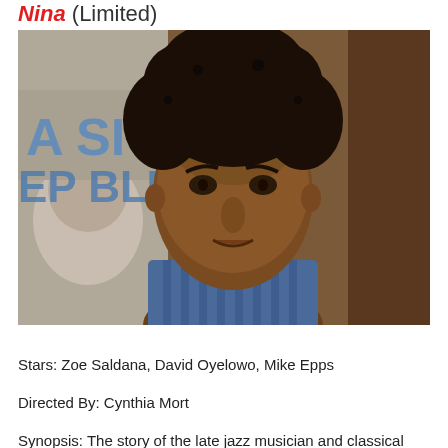Nina (Limited)
[Figure (photo): Close-up photo of an actress portraying Nina Simone, with an afro hairstyle, looking directly at the camera. In the background are partially visible letters reading 'A SI' and 'EP BLU' on a poster, and a stylized face illustration. She is wearing a blue striped top.]
Stars: Zoe Saldana, David Oyelowo, Mike Epps
Directed By: Cynthia Mort
Synopsis: The story of the late jazz musician and classical pianist Nina Simone including her rise to fame and relationship with her manager Clifton Henderson.